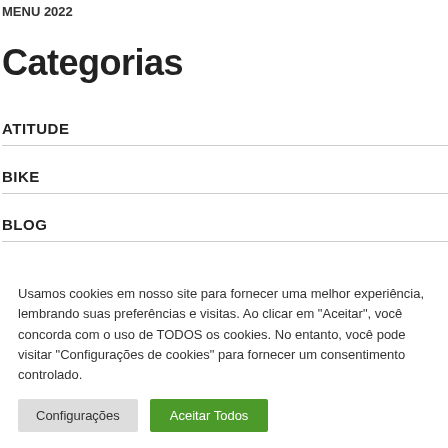MENU 2022
Categorias
ATITUDE
BIKE
BLOG
Usamos cookies em nosso site para fornecer uma melhor experiência, lembrando suas preferências e visitas. Ao clicar em "Aceitar", você concorda com o uso de TODOS os cookies. No entanto, você pode visitar "Configurações de cookies" para fornecer um consentimento controlado.
Configurações
Aceitar Todos